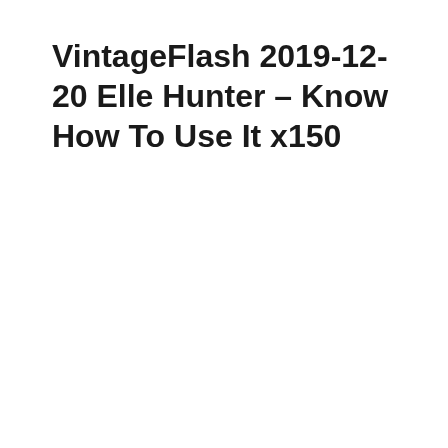VintageFlash 2019-12-20 Elle Hunter – Know How To Use It x150
[Figure (other): A warning/caution triangle icon (light gray outline triangle with exclamation mark inside), indicating a missing or broken image placeholder.]